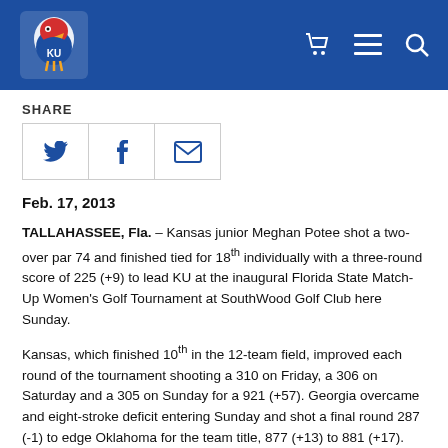[Figure (logo): Kansas Jayhawks KU logo on blue header bar with shopping cart, menu, and search icons]
SHARE
[Figure (infographic): Share buttons: Twitter (bird icon), Facebook (f icon), Email (envelope icon) in bordered boxes]
Feb. 17, 2013
TALLAHASSEE, Fla. – Kansas junior Meghan Potee shot a two-over par 74 and finished tied for 18th individually with a three-round score of 225 (+9) to lead KU at the inaugural Florida State Match-Up Women's Golf Tournament at SouthWood Golf Club here Sunday.

Kansas, which finished 10th in the 12-team field, improved each round of the tournament shooting a 310 on Friday, a 306 on Saturday and a 305 on Sunday for a 921 (+57). Georgia overcame and eight-stroke deficit entering Sunday and shot a final round 287 (-1) to edge Oklahoma for the team title, 877 (+13) to 881 (+17). KU was three strokes behind ninth-place finisher Michigan, which had